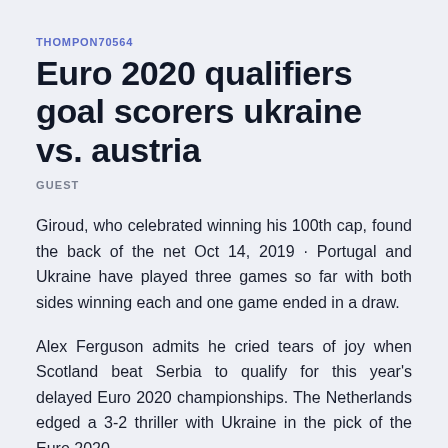THOMPON70564
Euro 2020 qualifiers goal scorers ukraine vs. austria
GUEST
Giroud, who celebrated winning his 100th cap, found the back of the net Oct 14, 2019 · Portugal and Ukraine have played three games so far with both sides winning each and one game ended in a draw.
Alex Ferguson admits he cried tears of joy when Scotland beat Serbia to qualify for this year's delayed Euro 2020 championships. The Netherlands edged a 3-2 thriller with Ukraine in the pick of the Euro 2020